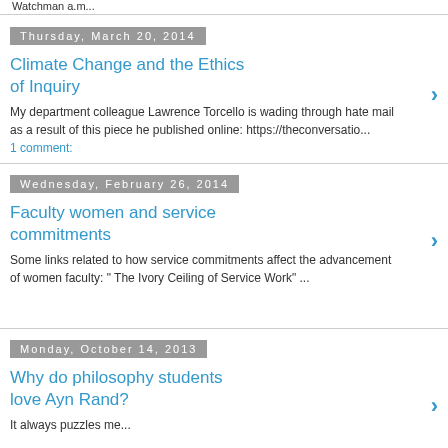Watchman a.m...
Thursday, March 20, 2014
Climate Change and the Ethics of Inquiry
My department colleague Lawrence Torcello is wading through hate mail as a result of this piece he published online: https://theconversatio...
1 comment:
Wednesday, February 26, 2014
Faculty women and service commitments
Some links related to how service commitments affect the advancement of women faculty: " The Ivory Ceiling of Service Work" ...
Monday, October 14, 2013
Why do philosophy students love Ayn Rand?
It always puzzles me...